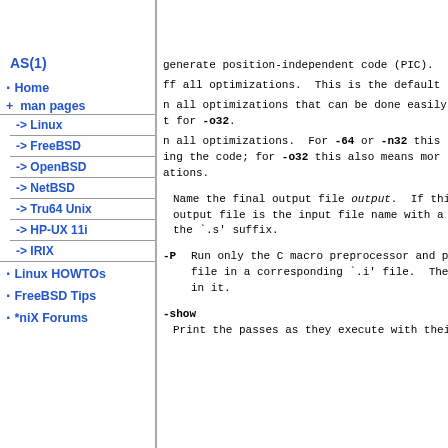AS(1)
Home
+ man pages
-> Linux
-> FreeBSD
-> OpenBSD
-> NetBSD
-> Tru64 Unix
-> HP-UX 11i
-> IRIX
Linux HOWTOs
FreeBSD Tips
*niX Forums
generate position-independent code (PIC).
ff all optimizations. This is the default
n all optimizations that can be done easily
t for -o32.
n all optimizations. For -64 or -n32 this
ing the code; for -o32 this also means mor
ations.
Name the final output file output. If this optio output file is the input file name with a `.o' su the `.s' suffix.
-P  Run only the C macro preprocessor and put the res file in a corresponding `.i' file. The `.i' file in it.
-show  Print the passes as they execute with their argum